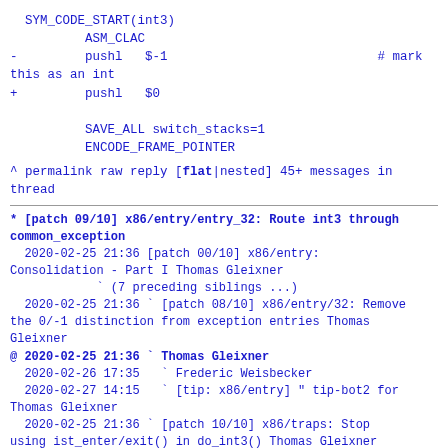SYM_CODE_START(int3)
        ASM_CLAC
-       pushl   $-1                            # mark this as an int
+       pushl   $0

        SAVE_ALL switch_stacks=1
        ENCODE_FRAME_POINTER
^ permalink raw reply   [flat|nested] 45+ messages in thread
* [patch 09/10] x86/entry/entry_32: Route int3 through common_exception
  2020-02-25 21:36 [patch 00/10] x86/entry: Consolidation - Part I Thomas Gleixner
            ` (7 preceding siblings ...)
  2020-02-25 21:36 ` [patch 08/10] x86/entry/32: Remove the 0/-1 distinction from exception entries Thomas Gleixner
@ 2020-02-25 21:36 ` Thomas Gleixner
  2020-02-26 17:35   ` Frederic Weisbecker
  2020-02-27 14:15   ` [tip: x86/entry] " tip-bot2 for Thomas Gleixner
  2020-02-25 21:36 ` [patch 10/10] x86/traps: Stop using ist_enter/exit() in do_int3() Thomas Gleixner
            ` (3 subsequent siblings)